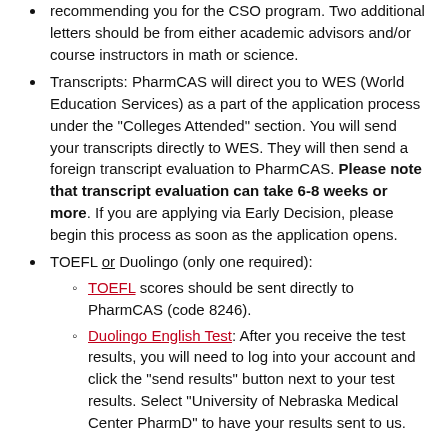recommending you for the CSO program. Two additional letters should be from either academic advisors and/or course instructors in math or science.
Transcripts: PharmCAS will direct you to WES (World Education Services) as a part of the application process under the "Colleges Attended" section. You will send your transcripts directly to WES. They will then send a foreign transcript evaluation to PharmCAS. Please note that transcript evaluation can take 6-8 weeks or more. If you are applying via Early Decision, please begin this process as soon as the application opens.
TOEFL or Duolingo (only one required):
TOEFL scores should be sent directly to PharmCAS (code 8246).
Duolingo English Test: After you receive the test results, you will need to log into your account and click the "send results" button next to your test results. Select "University of Nebraska Medical Center PharmD" to have your results sent to us.